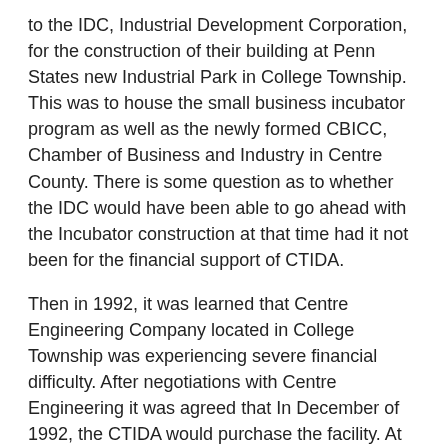to the IDC, Industrial Development Corporation, for the construction of their building at Penn States new Industrial Park in College Township. This was to house the small business incubator program as well as the newly formed CBICC, Chamber of Business and Industry in Centre County. There is some question as to whether the IDC would have been able to go ahead with the Incubator construction at that time had it not been for the financial support of CTIDA.
Then in 1992, it was learned that Centre Engineering Company located in College Township was experiencing severe financial difficulty. After negotiations with Centre Engineering it was agreed that In December of 1992, the CTIDA would purchase the facility. At that time, the following companies were housed in this complex: Centre Engineering, Maxtech, Broadband Networks, Blatak and TRS Ceramics. We continued to run the facility as an Industrial and Technical incubator, as a next step up form the IDC starter program.
In 2007 the CTIDA sold the building to Channel